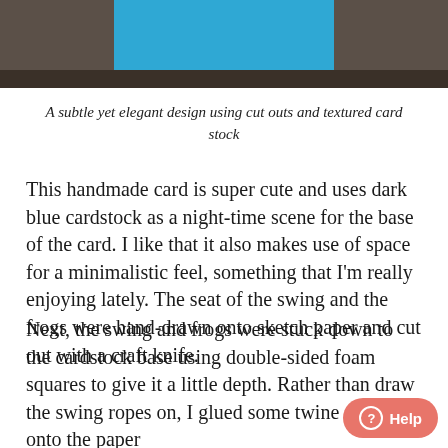[Figure (photo): Top portion of a photo showing a bright blue card/cardstock on a wooden surface with dark background]
A subtle yet elegant design using cut outs and textured card stock
This handmade card is super cute and uses dark blue cardstock as a night-time scene for the base of the card. I like that it also makes use of space for a minimalistic feel, something that I'm really enjoying lately. The seat of the swing and the frogs were hand-drawn onto sketch paper and cut out with a craft knife.
Next, the swing and frogs were stuck down to the cardstock base using double-sided foam squares to give it a little depth. Rather than draw the swing ropes on, I glued some twine down onto the paper